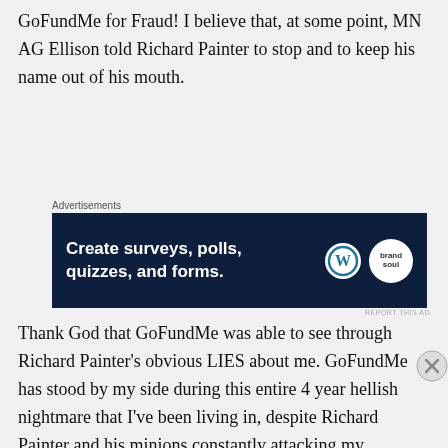GoFundMe for Fraud! I believe that, at some point, MN AG Ellison told Richard Painter to stop and to keep his name out of his mouth.
[Figure (screenshot): Advertisement banner: dark navy background with text 'Create surveys, polls, quizzes, and forms.' with WordPress logo and a circular brand logo on right]
Thank God that GoFundMe was able to see through Richard Painter's obvious LIES about me. GoFundMe has stood by my side during this entire 4 year hellish nightmare that I've been living in, despite Richard Painter and his minions constantly attacking my GoFundMe, because they know that it is keeping me
[Figure (screenshot): Victoria's Secret advertisement banner in pink with a woman model, Victoria's Secret script logo, and 'SHOP THE COLLECTION' with 'SHOP NOW' button]